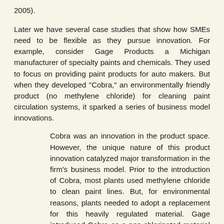2005).
Later we have several case studies that show how SMEs need to be flexible as they pursue innovation. For example, consider Gage Products a Michigan manufacturer of specialty paints and chemicals. They used to focus on providing paint products for auto makers. But when they developed "Cobra," an environmentally friendly product (no methylene chloride) for cleaning paint circulation systems, it sparked a series of business model innovations.
Cobra was an innovation in the product space. However, the unique nature of this product innovation catalyzed major transformation in the firm's business model. Prior to the introduction of Cobra, most plants used methylene chloride to clean paint lines. But, for environmental reasons, plants needed to adopt a replacement for this heavily regulated material. Gage introduced Cobra as a non-chlorinated material that started mechanical cleaning of the lines as an industry practice. The product grew, the product...